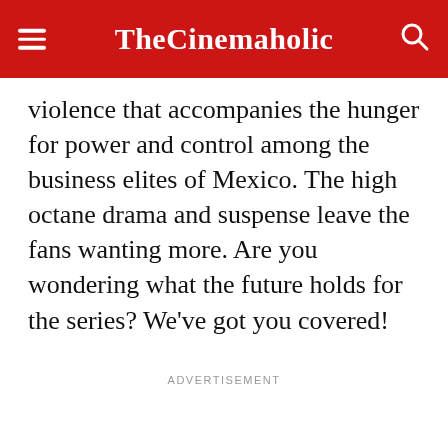TheCinemaholic
violence that accompanies the hunger for power and control among the business elites of Mexico. The high octane drama and suspense leave the fans wanting more. Are you wondering what the future holds for the series? We've got you covered!
ADVERTISEMENT